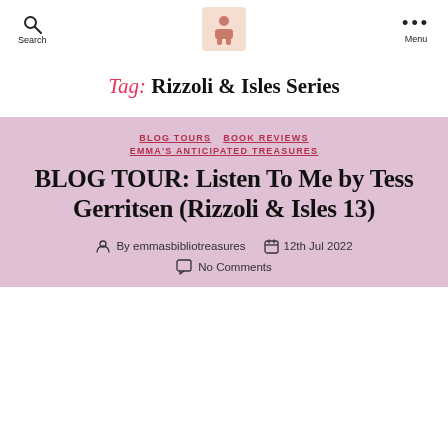Search | [logo image] | Menu
Tag: Rizzoli & Isles Series
BLOG TOURS  BOOK REVIEWS  EMMA'S ANTICIPATED TREASURES
BLOG TOUR: Listen To Me by Tess Gerritsen (Rizzoli & Isles 13)
By emmasbibliotreasures  12th Jul 2022
No Comments